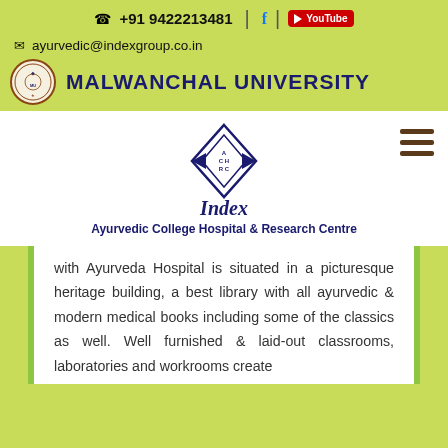☎ +91 9422213481 | f | YouTube
✉ ayurvedic@indexgroup.co.in
MALWANCHAL UNIVERSITY
[Figure (logo): Index Ayurvedic College Hospital & Research Centre logo with ACHRC emblem]
Ayurvedic College Hospital & Research Centre
with Ayurveda Hospital is situated in a picturesque heritage building, a best library with all ayurvedic & modern medical books including some of the classics as well. Well furnished & laid-out classrooms, laboratories and workrooms create